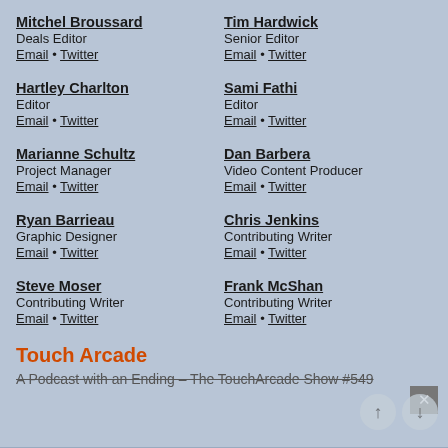Mitchel Broussard
Deals Editor
Email • Twitter
Tim Hardwick
Senior Editor
Email • Twitter
Hartley Charlton
Editor
Email • Twitter
Sami Fathi
Editor
Email • Twitter
Marianne Schultz
Project Manager
Email • Twitter
Dan Barbera
Video Content Producer
Email • Twitter
Ryan Barrieau
Graphic Designer
Email • Twitter
Chris Jenkins
Contributing Writer
Email • Twitter
Steve Moser
Contributing Writer
Email • Twitter
Frank McShan
Contributing Writer
Email • Twitter
Touch Arcade
A Podcast with an Ending – The TouchArcade Show #549